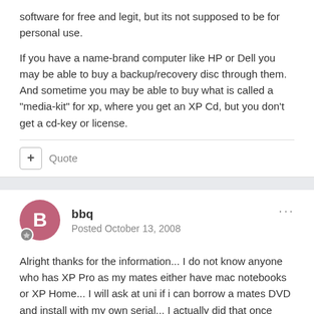software for free and legit, but its not supposed to be for personal use.
If you have a name-brand computer like HP or Dell you may be able to buy a backup/recovery disc through them. And sometime you may be able to buy what is called a "media-kit" for xp, where you get an XP Cd, but you don't get a cd-key or license.
+ Quote
bbq
Posted October 13, 2008
Alright thanks for the information... I do not know anyone who has XP Pro as my mates either have mac notebooks or XP Home... I will ask at uni if i can borrow a mates DVD and install with my own serial... I actually did that once before on my old old pc when i had XP Home as it was a Packard-Bell and they didn't give an OS disk with the computer as most package POS...